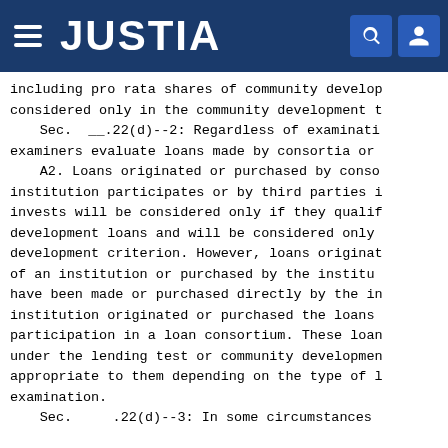JUSTIA
including pro rata shares of community development loans considered only in the community development test.
Sec. __.22(d)--2: Regardless of examination type, examiners evaluate loans made by consortia or third parties.
A2. Loans originated or purchased by consortia in which an institution participates or by third parties in which an institution invests will be considered only if they qualify as community development loans and will be considered only under the community development criterion. However, loans originated on behalf of an institution or purchased by the institution that could have been made or purchased directly by the institution had the institution originated or purchased the loans rather than through participation in a loan consortium. These loans may be considered under the lending test or community development test as appropriate to them depending on the type of loan, as in a large examination.
Sec. __.22(d)--3: In some circumstances...